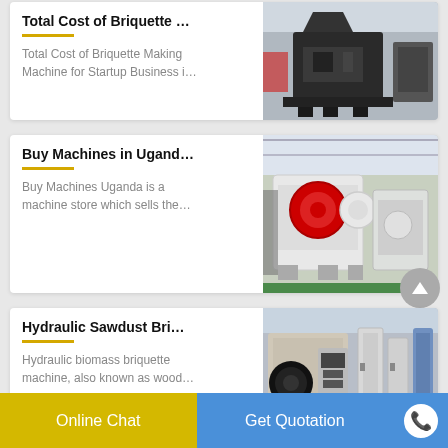Total Cost of Briquette …
Total Cost of Briquette Making Machine for Startup Business i…
[Figure (photo): Industrial briquette making machine in a factory setting]
Buy Machines in Ugand…
Buy Machines Uganda is a machine store which sells the…
[Figure (photo): Large jaw crusher machines in an industrial warehouse]
Hydraulic Sawdust Bri…
Hydraulic biomass briquette machine, also known as wood…
[Figure (photo): Hydraulic sawdust briquette machine in factory]
Online Chat
Get Quotation